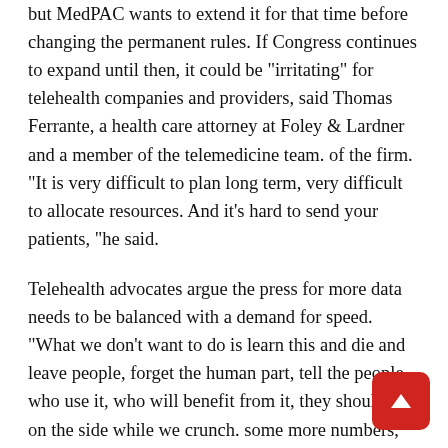but MedPAC wants to extend it for that time before changing the permanent rules. If Congress continues to expand until then, it could be "irritating" for telehealth companies and providers, said Thomas Ferrante, a health care attorney at Foley & Lardner and a member of the telemedicine team. of the firm. "It is very difficult to plan long term, very difficult to allocate resources. And it's hard to send your patients, "he said.
Telehealth advocates argue the press for more data needs to be balanced with a demand for speed. "What we don't want to do is learn this and die and leave people, forget the human part, tell the people who use it, who will benefit from it, they should stay on the side while we crunch. some more numbers, "said Claud Tucker, chief president of public affairs at Teladoc